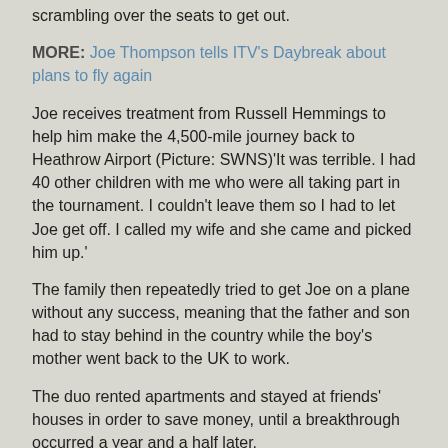scrambling over the seats to get out.
MORE: Joe Thompson tells ITV's Daybreak about plans to fly again
Joe receives treatment from Russell Hemmings to help him make the 4,500-mile journey back to Heathrow Airport (Picture: SWNS)'It was terrible. I had 40 other children with me who were all taking part in the tournament. I couldn't leave them so I had to let Joe get off. I called my wife and she came and picked him up.'
The family then repeatedly tried to get Joe on a plane without any success, meaning that the father and son had to stay behind in the country while the boy's mother went back to the UK to work.
The duo rented apartments and stayed at friends' houses in order to save money, until a breakthrough occurred a year and a half later.
Joe's aerophobia – which had baffled doctors because he had flown long-haul many times as a child – was soothed by hypnotist Russell Hemmings.